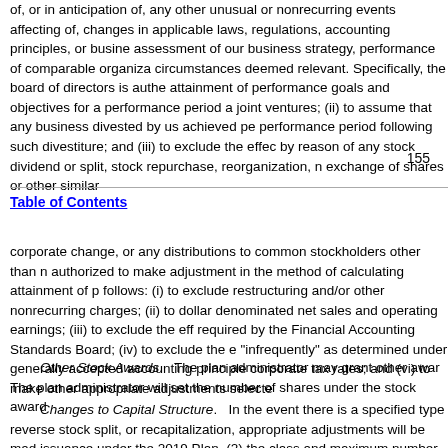of, or in anticipation of, any other unusual or nonrecurring events affecting of, changes in applicable laws, regulations, accounting principles, or busine assessment of our business strategy, performance of comparable organiza circumstances deemed relevant. Specifically, the board of directors is authe attainment of performance goals and objectives for a performance period a joint ventures; (ii) to assume that any business divested by us achieved pe performance period following such divestiture; and (iii) to exclude the effec by reason of any stock dividend or split, stock repurchase, reorganization, n exchange of shares or other similar
155
Table of Contents
corporate change, or any distributions to common stockholders other than n authorized to make adjustment in the method of calculating attainment of p follows: (i) to exclude restructuring and/or other nonrecurring charges; (ii) to dollar denominated net sales and operating earnings; (iii) to exclude the eff required by the Financial Accounting Standards Board; (iv) to exclude the e "infrequently" as determined under generally accepted accounting principle corporate tax rates; and (vi) to make other appropriate adjustments selecte
Other Stock Awards. The plan administrator may grant other awar The plan administrator will set the number of shares under the stock award
Changes to Capital Structure. In the event there is a specified type reverse stock split, or recapitalization, appropriate adjustments will be mad issuance under the 2019 Plan, (2) the class and maximum number of share uses, (3) the class and maximum number of shares that may be issued cer